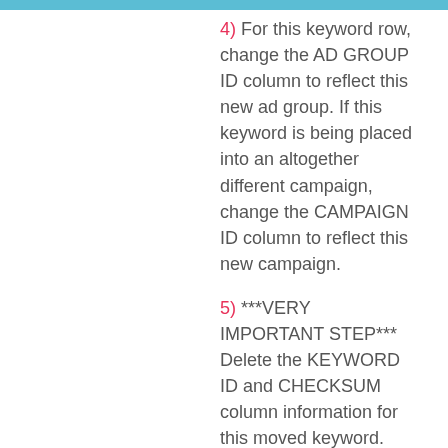4)  For this keyword row, change the AD GROUP ID column to reflect this new ad group. If this keyword is being placed into an altogether different campaign, change the CAMPAIGN ID column to reflect this new campaign.
5)  ***VERY IMPORTANT STEP*** Delete the KEYWORD ID and CHECKSUM column information for this moved keyword.
6)  Return to the original keyword row (from step 2) and mark the COMPONENT STATUS column as Deleted.